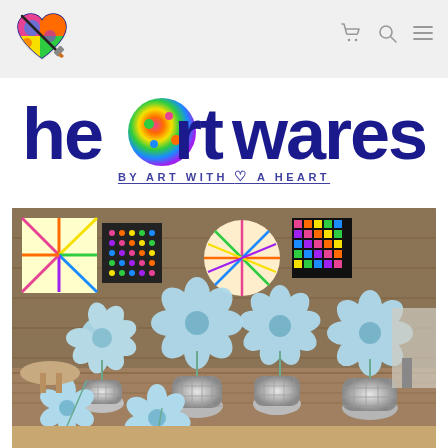[Figure (logo): Colorful heart-shaped logo with a paintbrush in the top left of the navigation header]
Navigation header with cart, search, and menu icons
[Figure (logo): Heartwares brand logo in large dark blue text with a colorful circle replacing the 'a' in 'heart', tagline reads 'by ART WITH A HEART']
[Figure (photo): Photo of light blue paper flowers arranged in mirrored/mosaic vases on a wooden table, with colorful artwork displayed on wood-paneled walls in the background]